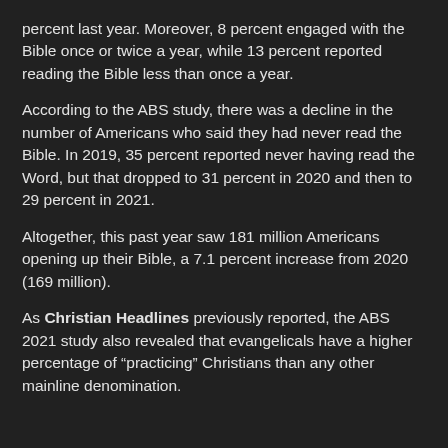percent last year. Moreover, 8 percent engaged with the Bible once or twice a year, while 13 percent reported reading the Bible less than once a year.
According to the ABS study, there was a decline in the number of Americans who said they had never read the Bible. In 2019, 35 percent reported never having read the Word, but that dropped to 31 percent in 2020 and then to 29 percent in 2021.
Altogether, this past year saw 181 million Americans opening up their Bible, a 7.1 percent increase from 2020 (169 million).
As Christian Headlines previously reported, the ABS 2021 study also revealed that evangelicals have a higher percentage of “practicing” Christians than any other mainline denomination.